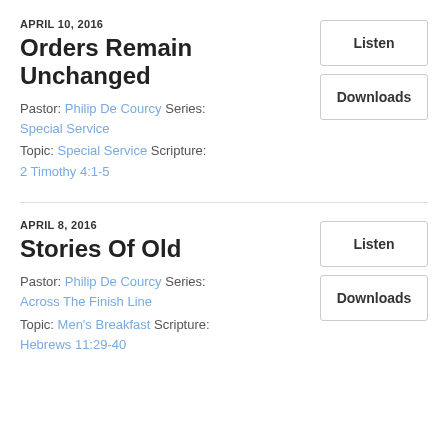APRIL 10, 2016
Orders Remain Unchanged
Pastor: Philip De Courcy Series: Special Service
Topic: Special Service Scripture: 2 Timothy 4:1-5
APRIL 8, 2016
Stories Of Old
Pastor: Philip De Courcy Series: Across The Finish Line
Topic: Men's Breakfast Scripture: Hebrews 11:29-40